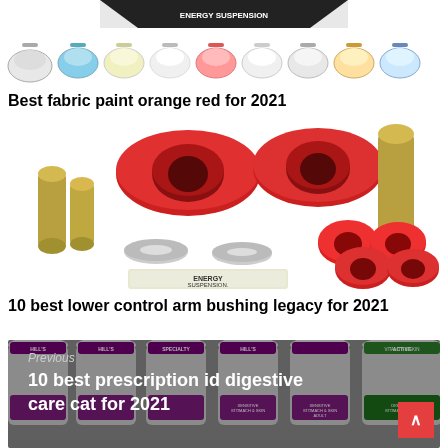[Figure (photo): Top strip with partial product image showing a dark diagonal banner]
[Figure (photo): Row of fabric paint color swatches in various colors including orange, red, white, and blue]
Best fabric paint orange red for 2021
[Figure (photo): Red polyurethane bushings with metal sleeves and washers, Energy Suspension branded parts for lower control arm]
10 best lower control arm bushing legacy for 2021
[Figure (photo): Navigation banner showing canned cat food with Previous label and text: 10 best prescription id digestive care cat for 2021, with a red scroll-up button]
Previous
10 best prescription id digestive care cat for 2021